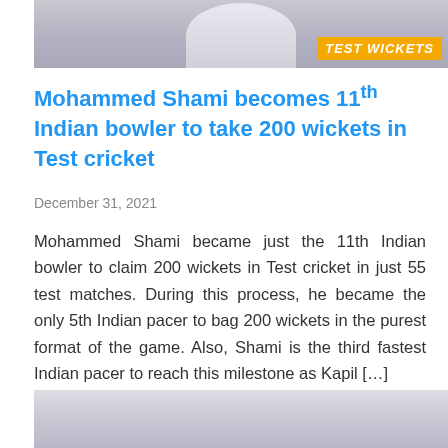[Figure (photo): Top portion of a cricket-related promotional image showing a person with arms crossed and an orange badge with text 'TEST WICKETS']
Mohammed Shami becomes 11th Indian bowler to take 200 wickets in Test cricket
December 31, 2021
Mohammed Shami became just the 11th Indian bowler to claim 200 wickets in Test cricket in just 55 test matches. During this process, he became the only 5th Indian pacer to bag 200 wickets in the purest format of the game. Also, Shami is the third fastest Indian pacer to reach this milestone as Kapil […]
[Figure (photo): Bottom portion of another image, showing a grey/cloudy background — partially visible at bottom of page]